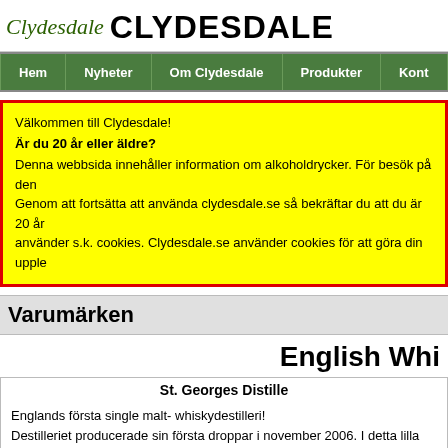Clydesdale CLYDESDALE
Hem | Nyheter | Om Clydesdale | Produkter | Kont
Välkommen till Clydesdale!
Är du 20 år eller äldre?
Denna webbsida innehåller information om alkoholdrycker. För besök på den Genom att fortsätta att använda clydesdale.se så bekräftar du att du är 20 år använder s.k. cookies. Clydesdale.se använder cookies för att göra din upple
Varumärken
English Whi
St. Georges Distille
Englands första single malt- whiskydestilleri!
Destilleriet producerade sin första droppar i november 2006. I detta lilla destilleri fyller man cirka 13 fat per vecka och bygger sakta upp ett lager av denna delikata engelska maltsprit. Precis som den skotska whiskyn måste den lagras i ekfat i minst 3 år innan den får kallas whisky.
Destilleriet ligger precis intill floden Thet vid vägen A11 mellan East Harling och Boudham på vägen B1111